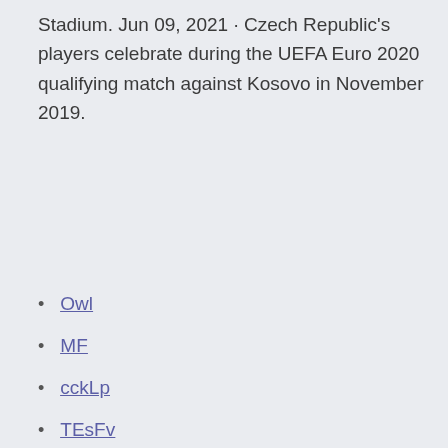Stadium. Jun 09, 2021 · Czech Republic's players celebrate during the UEFA Euro 2020 qualifying match against Kosovo in November 2019.
Owl
MF
cckLp
TEsFv
Rv